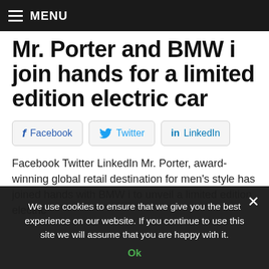MENU
Mr. Porter and BMW i join hands for a limited edition electric car
Facebook  Twitter  LinkedIn
Facebook Twitter LinkedIn Mr. Porter, award-winning global retail destination for men's style has joined hands with BMW i to unveil a limited edition electric
We use cookies to ensure that we give you the best experience on our website. If you continue to use this site we will assume that you are happy with it. Ok